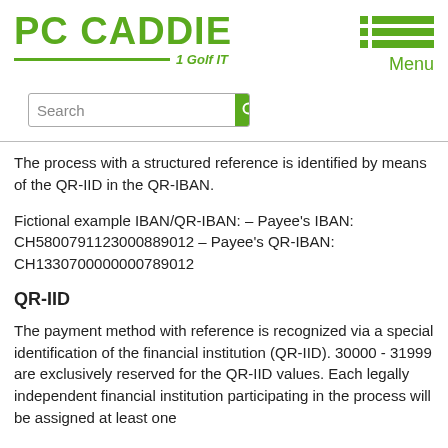PC CADDIE | Golf IT
The process with a structured reference is identified by means of the QR-IID in the QR-IBAN.
Fictional example IBAN/QR-IBAN: – Payee's IBAN: CH5800791123000889012 – Payee's QR-IBAN: CH1330700000000789012
QR-IID
The payment method with reference is recognized via a special identification of the financial institution (QR-IID). 30000 - 31999 are exclusively reserved for the QR-IID values. Each legally independent financial institution participating in the process will be assigned at least one